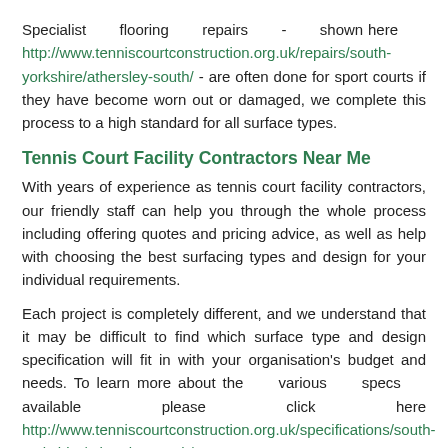Specialist flooring repairs - shown here http://www.tenniscourtconstruction.org.uk/repairs/south-yorkshire/athersley-south/ - are often done for sport courts if they have become worn out or damaged, we complete this process to a high standard for all surface types.
Tennis Court Facility Contractors Near Me
With years of experience as tennis court facility contractors, our friendly staff can help you through the whole process including offering quotes and pricing advice, as well as help with choosing the best surfacing types and design for your individual requirements.
Each project is completely different, and we understand that it may be difficult to find which surface type and design specification will fit in with your organisation's budget and needs. To learn more about the various specs available please click here http://www.tenniscourtconstruction.org.uk/specifications/south-yorkshire/athersley-south/
Our quotations can be flexible and altered to ensure you get the top